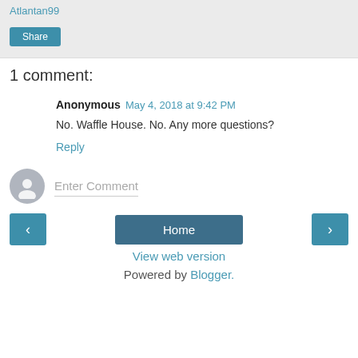Atlantan99
Share
1 comment:
Anonymous  May 4, 2018 at 9:42 PM
No. Waffle House. No. Any more questions?
Reply
Enter Comment
< Home >
View web version
Powered by Blogger.